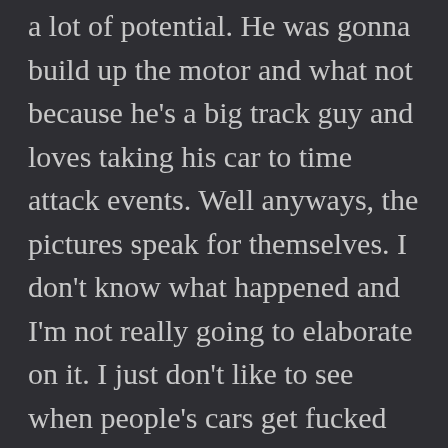a lot of potential. He was gonna build up the motor and what not because he's a big track guy and loves taking his car to time attack events. Well anyways, the pictures speak for themselves. I don't know what happened and I'm not really going to elaborate on it. I just don't like to see when people's cars get fucked with because that shit is just unnecessary. Especially if it's for no particular reason than to just be an asshole or a fucking hater. This happened sometime last week so I'm sure Art is in the process of trying to figure things out and getting the car repaired and what not but if you don't see the